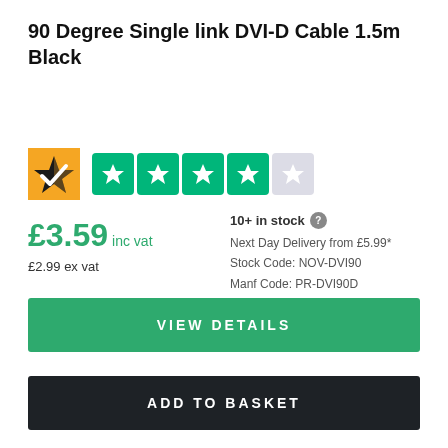90 Degree Single link DVI-D Cable 1.5m Black
[Figure (logo): Trustpilot logo with 4 green stars and 1 grey star rating]
£3.59 inc vat
£2.99 ex vat
10+ in stock
Next Day Delivery from £5.99*
Stock Code: NOV-DVI90
Manf Code: PR-DVI90D
VIEW DETAILS
ADD TO BASKET